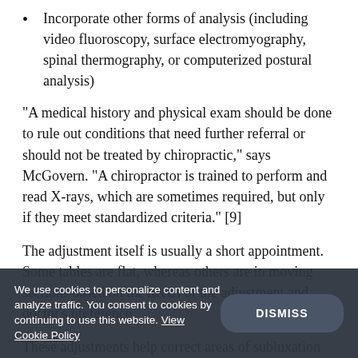Incorporate other forms of analysis (including video fluoroscopy, surface electromyography, spinal thermography, or computerized postural analysis)
“A medical history and physical exam should be done to rule out conditions that need further referral or should not be treated by chiropractic,” says McGovern. “A chiropractor is trained to perform and read X-rays, which are sometimes required, but only if they meet standardized criteria.” [9]
The adjustment itself is usually a short appointment. Some tables are flat, whereas others are in moving sections based on the needs of the adjustment and doctor’s preference.
These adjustments help correct areas of subluxation by putting pressure on the spine at very specifically identified
We use cookies to personalize content and analyze traffic. You consent to cookies by continuing to use this website. View Cookie Policy